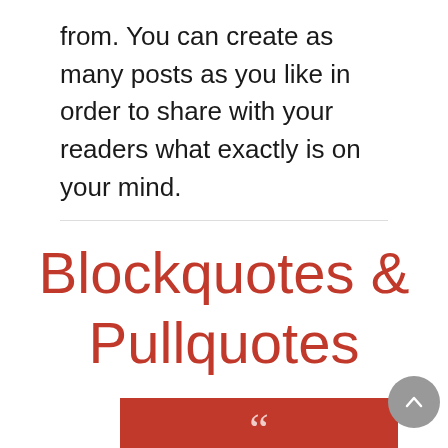from. You can create as many posts as you like in order to share with your readers what exactly is on your mind.
Blockquotes & Pullquotes
[Figure (other): Red/dark-red box with a large opening double quotation mark in white at the bottom, partially visible at page bottom]